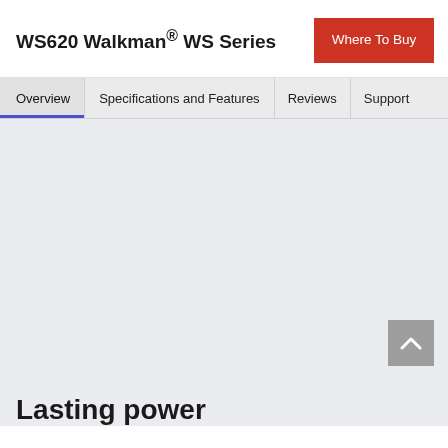WS620 Walkman® WS Series
Where To Buy
Overview | Specifications and Features | Reviews | Support
[Figure (other): Large light grey content area placeholder for product image]
Lasting power